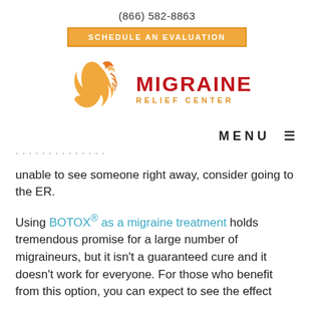(866) 582-8863
SCHEDULE AN EVALUATION
[Figure (logo): Migraine Relief Center logo with orange flame/hair graphic and red MIGRAINE text with orange RELIEF CENTER subtitle]
MENU ≡
unable to see someone right away, consider going to the ER.
Using BOTOX® as a migraine treatment holds tremendous promise for a large number of migraineurs, but it isn't a guaranteed cure and it doesn't work for everyone. For those who benefit from this option, you can expect to see the effect